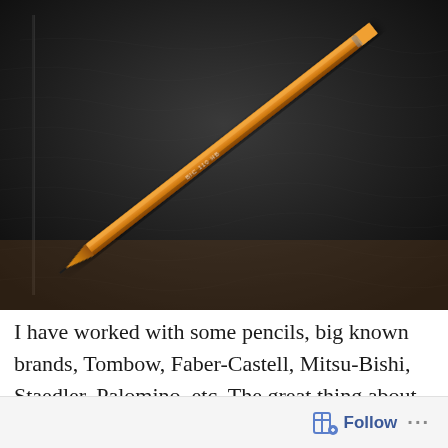[Figure (photo): A sharpened orange pencil resting diagonally on a black leather-textured notebook or journal, photographed from above. The pencil tip points toward the lower-left and the eraser end is at the upper-right. The pencil appears to be a Koh-I-Noor or similar brand with text printed in white along its side.]
I have worked with some pencils, big known brands, Tombow, Faber-Castell, Mitsu-Bishi, Staedler, Palomino, etc. The great thing about doing these
Follow ...